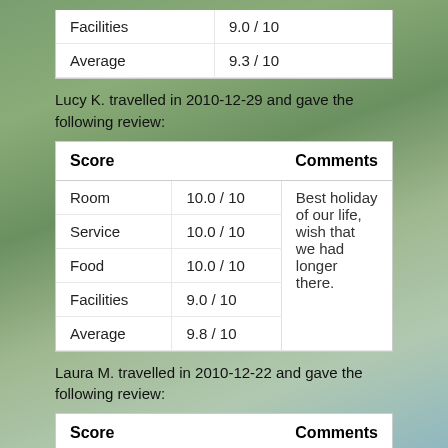| Facilities | 9.0 / 10 |
| Average | 9.3 / 10 |
Lucy K. travelled in 2010-12-29 and gave the following review:
| Score |  | Comments |
| --- | --- | --- |
| Room | 10.0 / 10 | Best holiday of our life, wish that we had longer there. |
| Service | 10.0 / 10 |  |
| Food | 10.0 / 10 |  |
| Facilities | 9.0 / 10 |  |
| Average | 9.8 / 10 |  |
Laura M. travelled in 2010-12-22 and gave the following review:
| Score |  | Comments |
| --- | --- | --- |
| Room | 10.0 / 10 |  |
| Service | 9.0 / 10 |  |